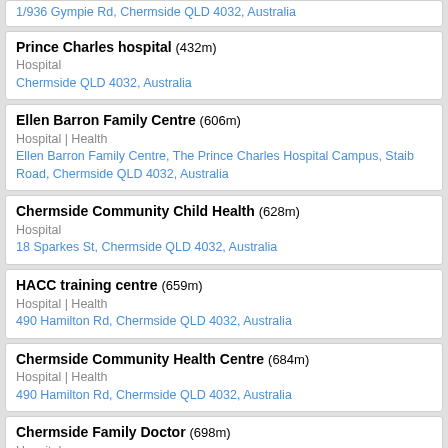1/936 Gympie Rd, Chermside QLD 4032, Australia
Prince Charles hospital (432m)
Hospital
Chermside QLD 4032, Australia
Ellen Barron Family Centre (606m)
Hospital | Health
Ellen Barron Family Centre, The Prince Charles Hospital Campus, Staib Road, Chermside QLD 4032, Australia
Chermside Community Child Health (628m)
Hospital
18 Sparkes St, Chermside QLD 4032, Australia
HACC training centre (659m)
Hospital | Health
490 Hamilton Rd, Chermside QLD 4032, Australia
Chermside Community Health Centre (684m)
Hospital | Health
490 Hamilton Rd, Chermside QLD 4032, Australia
Chermside Family Doctor (698m)
Hospital
785 Gympie Rd, Chermside QLD 4032, Australia
Chermside Family Medical Centre (819m)
Hospital | Doctor | Health
Chermside Markets, 6b/725 Webster Rd, Chermside QLD 4032, Australia